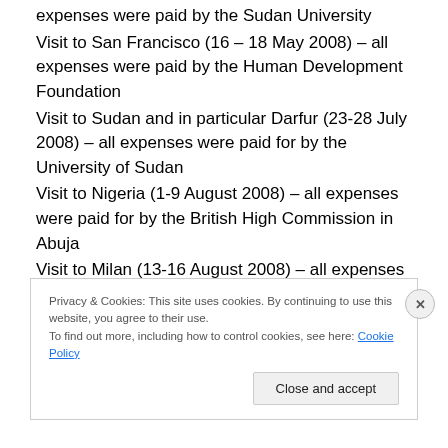expenses were paid by the Sudan University
Visit to San Francisco (16 – 18 May 2008) – all expenses were paid by the Human Development Foundation
Visit to Sudan and in particular Darfur (23-28 July 2008) – all expenses were paid for by the University of Sudan
Visit to Nigeria (1-9 August 2008) – all expenses were paid for by the British High Commission in Abuja
Visit to Milan (13-16 August 2008) – all expenses were paid for by the Italian/Pakistani community
Visit to Columbus, USA (29 August-2 September 2008) to attend the Islamic Society of North America (ISNA)
Privacy & Cookies: This site uses cookies. By continuing to use this website, you agree to their use. To find out more, including how to control cookies, see here: Cookie Policy